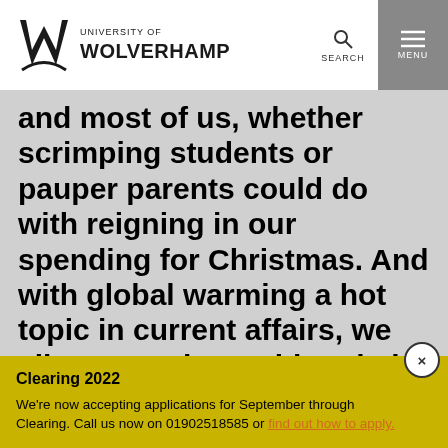University of Wolverhampton
and most of us, whether scrimping students or pauper parents could do with reigning in our spending for Christmas. And with global warming a hot topic in current affairs, we all want to do our bit to help prevent waste too. So here are our ideas for saving the pennies and planet, without losing
Clearing 2022
We're now accepting applications for September through Clearing. Call us now on 01902518585 or find out how to apply.